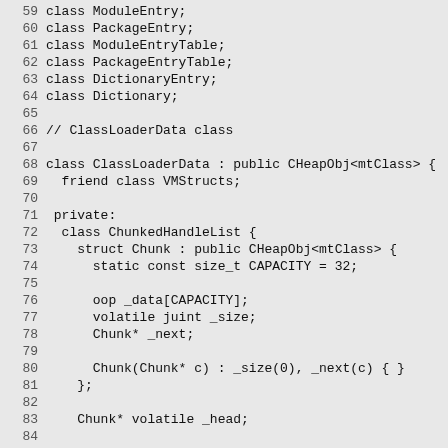59 class ModuleEntry;
60 class PackageEntry;
61 class ModuleEntryTable;
62 class PackageEntryTable;
63 class DictionaryEntry;
64 class Dictionary;
65
66 // ClassLoaderData class
67
68 class ClassLoaderData : public CHeapObj<mtClass> {
69   friend class VMStructs;
70
71  private:
72   class ChunkedHandleList {
73     struct Chunk : public CHeapObj<mtClass> {
74       static const size_t CAPACITY = 32;
75
76       oop _data[CAPACITY];
77       volatile juint _size;
78       Chunk* _next;
79
80       Chunk(Chunk* c) : _size(0), _next(c) { }
81     };
82
83     Chunk* volatile _head;
84
85     void oops_do_chunk(OopClosure* f, Chunk* c, cons
86
87   public:
88     ChunkedHandleList() : _head(NULL) {}